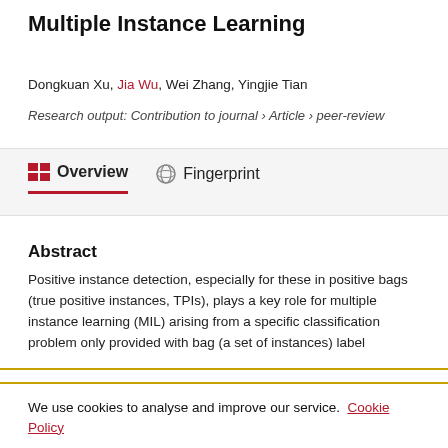Multiple Instance Learning
Dongkuan Xu, Jia Wu, Wei Zhang, Yingjie Tian
Research output: Contribution to journal › Article › peer-review
Overview
Fingerprint
Abstract
Positive instance detection, especially for these in positive bags (true positive instances, TPIs), plays a key role for multiple instance learning (MIL) arising from a specific classification problem only provided with bag (a set of instances) label
We use cookies to analyse and improve our service. Cookie Policy